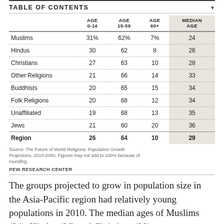TABLE OF CONTENTS
|  | AGE 0-14 | AGE 15-59 | AGE 60+ | MEDIAN AGE |
| --- | --- | --- | --- | --- |
| Muslims | 31% | 62% | 7% | 24 |
| Hindus | 30 | 62 | 8 | 26 |
| Christians | 27 | 63 | 10 | 28 |
| Other Religions | 21 | 66 | 14 | 33 |
| Buddhists | 20 | 65 | 15 | 34 |
| Folk Religions | 20 | 68 | 12 | 34 |
| Unaffiliated | 19 | 68 | 13 | 35 |
| Jews | 21 | 60 | 20 | 36 |
| Region | 26 | 64 | 10 | 29 |
Source: The Future of World Religions: Population Growth Projections, 2010-2050. Figures may not add to 100% because of rounding.
PEW RESEARCH CENTER
The groups projected to grow in population size in the Asia-Pacific region had relatively young populations in 2010. The median ages of Muslims (24), Hindus (26) and Christians (28)